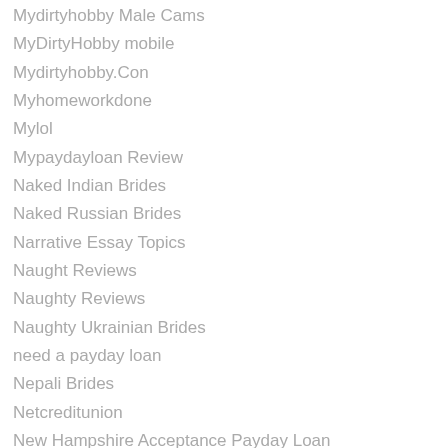Mydirtyhobby Male Cams
MyDirtyHobby mobile
Mydirtyhobby.Con
Myhomeworkdone
Mylol
Mypaydayloan Review
Naked Indian Brides
Naked Russian Brides
Narrative Essay Topics
Naught Reviews
Naughty Reviews
Naughty Ukrainian Brides
need a payday loan
Nepali Brides
Netcreditunion
New Hampshire Acceptance Payday Loan
New Hampshire Installment Loans Near Me
New Hampshire Payday Loans Online